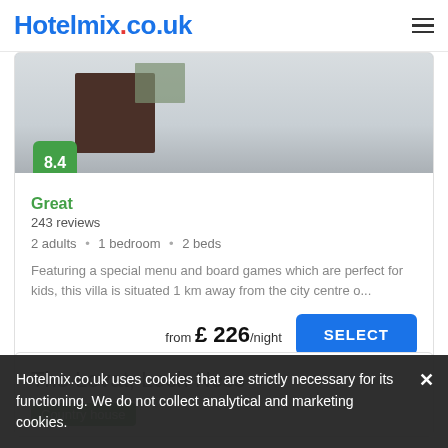Hotelmix.co.uk
[Figure (photo): Hotel facade exterior photo showing building entrance with plants and windows]
Great
243 reviews
2 adults • 1 bedroom • 2 beds
Featuring a special menu and board games which are perfect for kids, this villa is situated 1 km away from the city centre o...
from £ 226/night
The Lovat, Loch Ness
Country house
Hotelmix.co.uk uses cookies that are strictly necessary for its functioning. We do not collect analytical and marketing cookies.